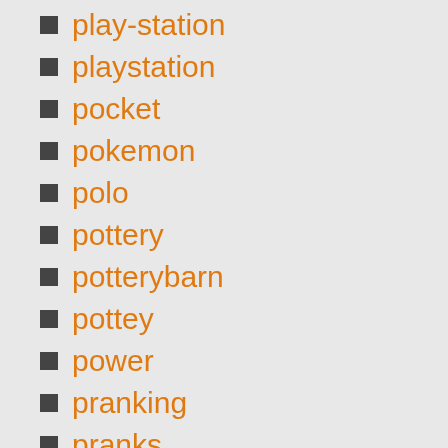play-station
playstation
pocket
pokemon
polo
pottery
potterybarn
pottey
power
pranking
pranks
pre-owned
pregnant
prepare
pretzels
princess
princesses
privacy
puppy
purple
pusheen
quad
race
rainforest